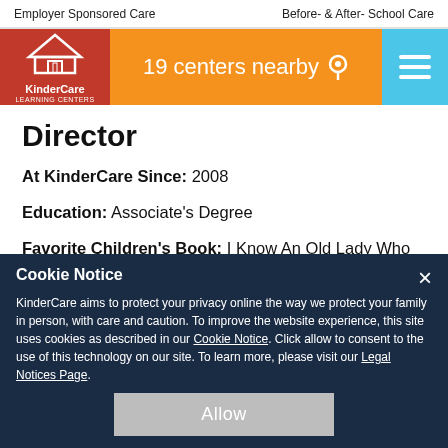Employer Sponsored Care   Before- & After- School Care
[Figure (logo): KinderCare logo with red background, white building icon, and KinderCare text]
19 centers nearby
Director
At KinderCare Since: 2008
Education: Associate's Degree
Favorite Children's Book: I Know An Old Lady Who Swallowed a Fly
Cookie Notice
KinderCare aims to protect your privacy online the way we protect your family in person, with care and caution. To improve the website experience, this site uses cookies as described in our Cookie Notice. Click allow to consent to the use of this technology on our site. To learn more, please visit our Legal Notices Page.